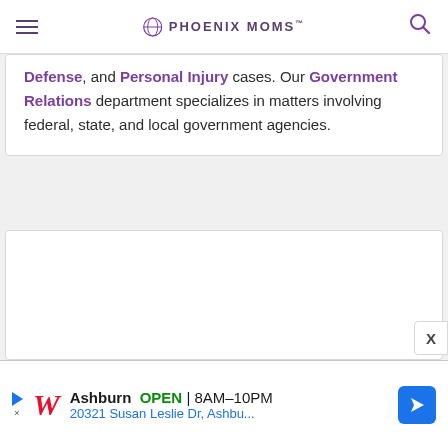PHOENIX MOMS
Defense, and Personal Injury cases. Our Government Relations department specializes in matters involving federal, state, and local government agencies.
[Figure (other): Empty white card/advertisement placeholder box]
Ashburn OPEN 8AM–10PM 20321 Susan Leslie Dr, Ashbu...